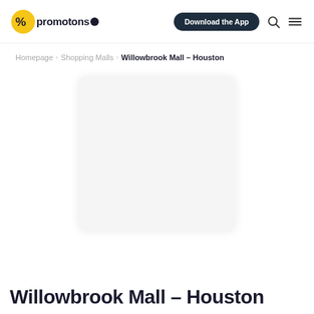promotons.com — Download the App
Homepage › Shopping Malls › Willowbrook Mall – Houston
[Figure (photo): Placeholder image box for Willowbrook Mall – Houston]
Willowbrook Mall – Houston